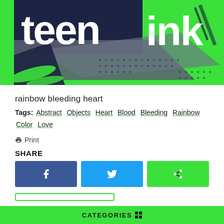[Figure (logo): Teen Ink website banner/logo with dark navy and bright green colors, featuring large bold white text 'teen' and 'ink' with abstract graphic design elements including paint strokes and dot patterns.]
rainbow bleeding heart
Tags: Abstract  Objects  Heart  Blood  Bleeding  Rainbow  Color  Love
Print
SHARE
[Figure (infographic): Three share buttons: Facebook (blue with f icon), Twitter (cyan with bird icon), and a green share/other button with share icon.]
CATEGORIES